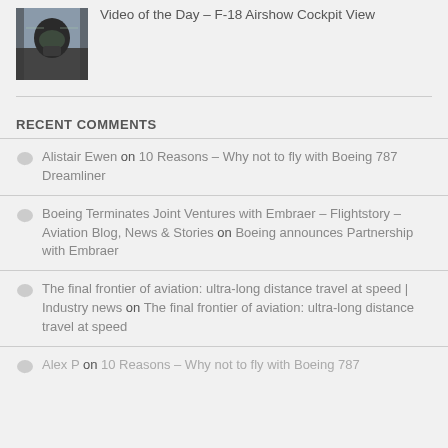[Figure (photo): Cockpit view photo of F-18 pilot with helmet and oxygen mask]
Video of the Day – F-18 Airshow Cockpit View
RECENT COMMENTS
Alistair Ewen on 10 Reasons – Why not to fly with Boeing 787 Dreamliner
Boeing Terminates Joint Ventures with Embraer – Flightstory – Aviation Blog, News & Stories on Boeing announces Partnership with Embraer
The final frontier of aviation: ultra-long distance travel at speed | Industry news on The final frontier of aviation: ultra-long distance travel at speed
Alex P on 10 Reasons – Why not to fly with Boeing 787